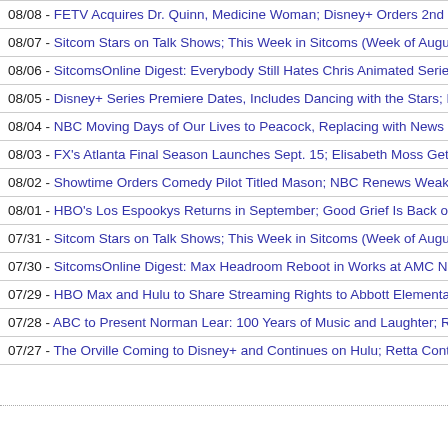08/08 - FETV Acquires Dr. Quinn, Medicine Woman; Disney+ Orders 2nd Se…
08/07 - Sitcom Stars on Talk Shows; This Week in Sitcoms (Week of August…
08/06 - SitcomsOnline Digest: Everybody Still Hates Chris Animated Series…
08/05 - Disney+ Series Premiere Dates, Includes Dancing with the Stars; Ha…
08/04 - NBC Moving Days of Our Lives to Peacock, Replacing with News Sh…
08/03 - FX's Atlanta Final Season Launches Sept. 15; Elisabeth Moss Gets…
08/02 - Showtime Orders Comedy Pilot Titled Mason; NBC Renews Weakes…
08/01 - HBO's Los Espookys Returns in September; Good Grief Is Back on…
07/31 - Sitcom Stars on Talk Shows; This Week in Sitcoms (Week of August…
07/30 - SitcomsOnline Digest: Max Headroom Reboot in Works at AMC Net…
07/29 - HBO Max and Hulu to Share Streaming Rights to Abbott Elementary…
07/28 - ABC to Present Norman Lear: 100 Years of Music and Laughter; Re…
07/27 - The Orville Coming to Disney+ and Continues on Hulu; Retta Contin…